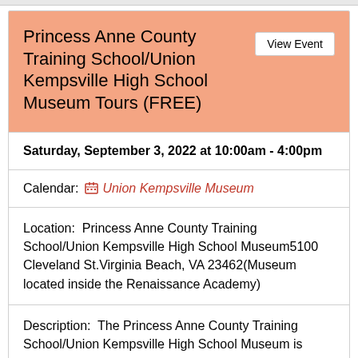Princess Anne County Training School/Union Kempsville High School Museum Tours (FREE)
Saturday, September 3, 2022 at 10:00am - 4:00pm
Calendar:  Union Kempsville Museum
Location:  Princess Anne County Training School/Union Kempsville High School Museum5100 Cleveland St.Virginia Beach, VA 23462(Museum located inside the Renaissance Academy)
Description:  The Princess Anne County Training School/Union Kempsville High School Museum is